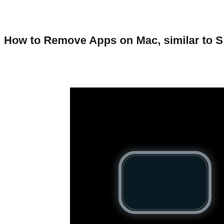How to Remove Apps on Mac, similar to S
[Figure (screenshot): Dark screenshot showing a Mac interface with a dark background and a rounded rectangle icon/app shape glowing with a faint white outline in the lower-right area of the image.]